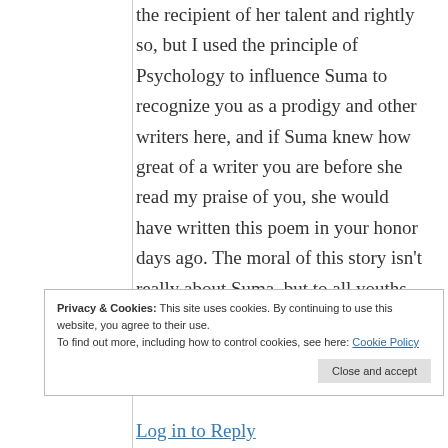the recipient of her talent and rightly so, but I used the principle of Psychology to influence Suma to recognize you as a prodigy and other writers here, and if Suma knew how great of a writer you are before she read my praise of you, she would have written this poem in your honor days ago. The moral of this story isn't really about Suma, but to all youths in time to take Psychology 101=the best
Privacy & Cookies: This site uses cookies. By continuing to use this website, you agree to their use. To find out more, including how to control cookies, see here: Cookie Policy
Close and accept
Log in to Reply